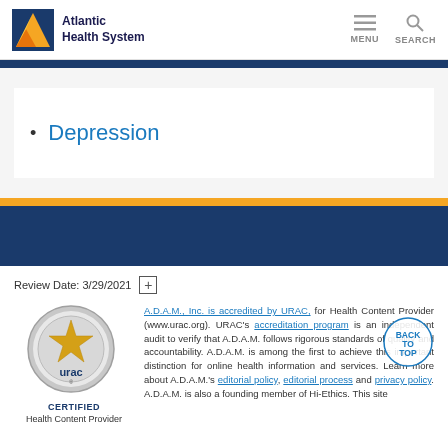Atlantic Health System — MENU SEARCH
Depression
Review Date: 3/29/2021
[Figure (logo): URAC certified logo — a circular silver badge with a gold star and 'urac' text, labeled CERTIFIED underneath]
A.D.A.M., Inc. is accredited by URAC, for Health Content Provider (www.urac.org). URAC's accreditation program is an independent audit to verify that A.D.A.M. follows rigorous standards of quality and accountability. A.D.A.M. is among the first to achieve this important distinction for online health information and services. Learn more about A.D.A.M.'s editorial policy, editorial process and privacy policy. A.D.A.M. is also a founding member of Hi-Ethics. This site
Health Content Provider